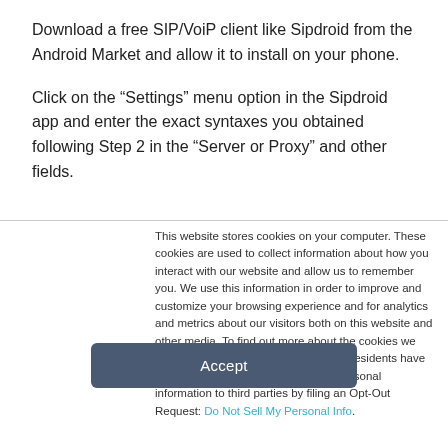Download a free SIP/VoiP client like Sipdroid from the Android Market and allow it to install on your phone.
Click on the “Settings” menu option in the Sipdroid app and enter the exact syntaxes you obtained following Step 2 in the “Server or Proxy” and other fields.
This website stores cookies on your computer. These cookies are used to collect information about how you interact with our website and allow us to remember you. We use this information in order to improve and customize your browsing experience and for analytics and metrics about our visitors both on this website and other media. To find out more about the cookies we use, see our Privacy Policy. California residents have the right to direct us not to sell their personal information to third parties by filing an Opt-Out Request: Do Not Sell My Personal Info.
Accept